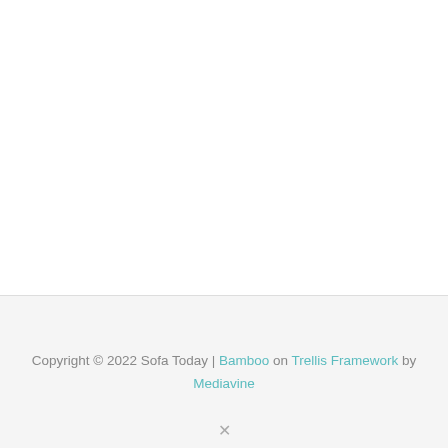Copyright © 2022 Sofa Today | Bamboo on Trellis Framework by Mediavine